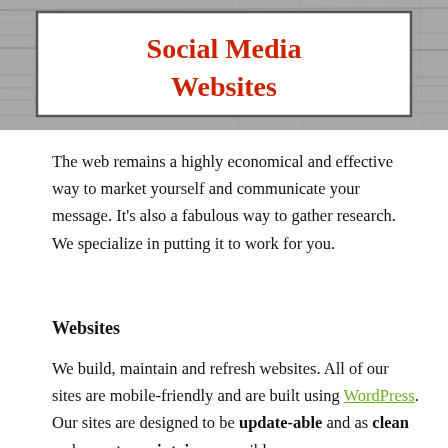[Figure (illustration): Decorative banner with wood-textured background and white framed box containing the text 'Social Media Websites' in red bold serif font]
The web remains a highly economical and effective way to market yourself and communicate your message. It's also a fabulous way to gather research. We specialize in putting it to work for you.
Websites
We build, maintain and refresh websites. All of our sites are mobile-friendly and are built using WordPress. Our sites are designed to be update-able and as clean and easy-to-maintain as possible.